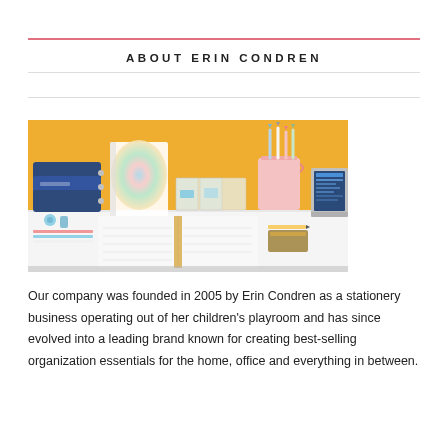ABOUT ERIN CONDREN
[Figure (photo): A styled desk scene with Erin Condren stationery products including navy blue zip pouches, a colorful planner, clear acrylic organizer, pink pen cup, notebooks, and a laptop, all arranged on a white surface against a yellow/orange background.]
Our company was founded in 2005 by Erin Condren as a stationery business operating out of her children's playroom and has since evolved into a leading brand known for creating best-selling organization essentials for the home, office and everything in between.